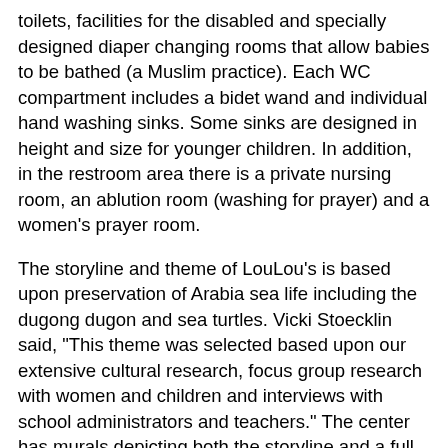toilets, facilities for the disabled and specially designed diaper changing rooms that allow babies to be bathed (a Muslim practice). Each WC compartment includes a bidet wand and individual hand washing sinks. Some sinks are designed in height and size for younger children. In addition, in the restroom area there is a private nursing room, an ablution room (washing for prayer) and a women's prayer room.
The storyline and theme of LouLou's is based upon preservation of Arabia sea life including the dugong dugon and sea turtles. Vicki Stoecklin said, "This theme was selected based upon our extensive cultural research, focus group research with women and children and interviews with school administrators and teachers." The center has murals depicting both the storyline and a full size dugong.
The center's physical theming reflects the three areas of the Gulf depicted in the storyline. The center's entrance and lobby represent the city with archetypes of local architecture including a wind tower. Part of the center represents the sea where dugong dugons live. And finally a part depicts an island in the Arabian Gulf where most of the storyline takes place